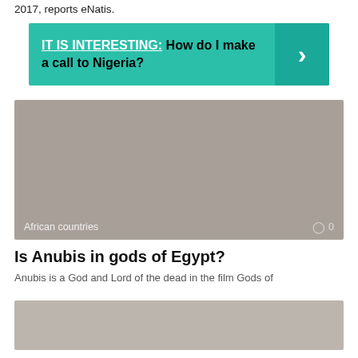2017, reports eNatis.
IT IS INTERESTING:  How do I make a call to Nigeria?
[Figure (photo): Gray placeholder image for an article about African countries with a comment icon and zero count]
African countries   ○ 0
Is Anubis in gods of Egypt?
Anubis is a God and Lord of the dead in the film Gods of
[Figure (photo): Gray placeholder image at the bottom of the page]